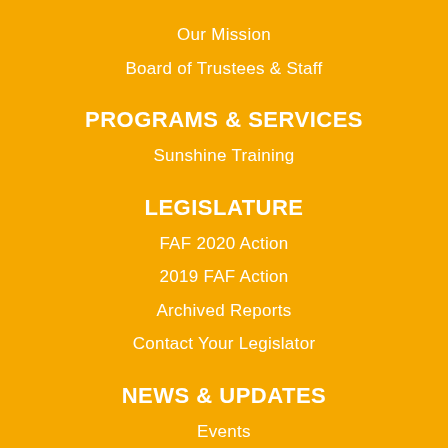Our Mission
Board of Trustees & Staff
PROGRAMS & SERVICES
Sunshine Training
LEGISLATURE
FAF 2020 Action
2019 FAF Action
Archived Reports
Contact Your Legislator
NEWS & UPDATES
Events
First Amendment Foundation Awards